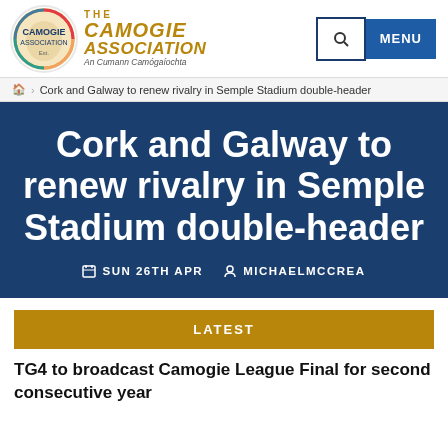The Camogie Association / An Cumann Camógaíochta
Cork and Galway to renew rivalry in Semple Stadium double-header
Cork and Galway to renew rivalry in Semple Stadium double-header
SUN 26TH APR  MICHAELMCCREA
LATEST
TG4 to broadcast Camogie League Final for second consecutive year